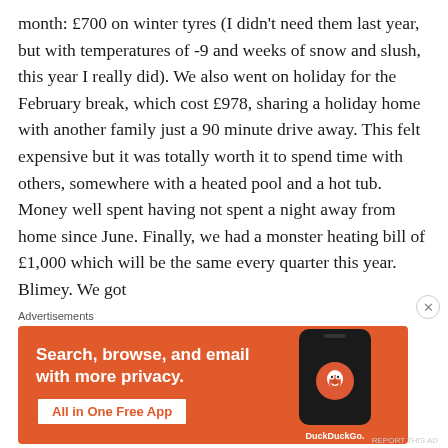month: £700 on winter tyres (I didn't need them last year, but with temperatures of -9 and weeks of snow and slush, this year I really did). We also went on holiday for the February break, which cost £978, sharing a holiday home with another family just a 90 minute drive away. This felt expensive but it was totally worth it to spend time with others, somewhere with a heated pool and a hot tub. Money well spent having not spent a night away from home since June. Finally, we had a monster heating bill of £1,000 which will be the same every quarter this year. Blimey. We got
Advertisements
[Figure (infographic): DuckDuckGo advertisement banner with orange background. Left side shows bold white text: 'Search, browse, and email with more privacy.' with a white button below reading 'All in One Free App'. Right side shows a dark smartphone mockup with the DuckDuckGo duck logo and brand name.]